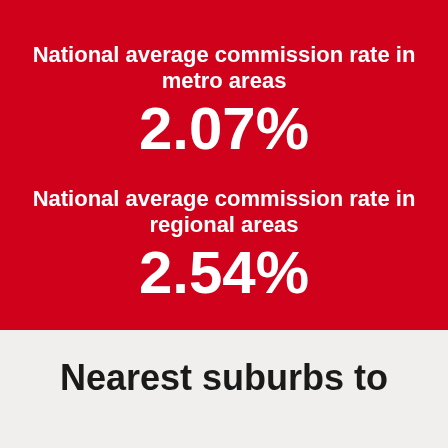National average commission rate in metro areas
2.07%
National average commission rate in regional areas
2.54%
Nearest suburbs to